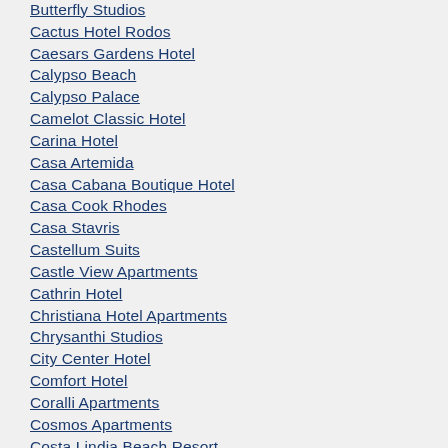Butterfly Studios
Cactus Hotel Rodos
Caesars Gardens Hotel
Calypso Beach
Calypso Palace
Camelot Classic Hotel
Carina Hotel
Casa Artemida
Casa Cabana Boutique Hotel
Casa Cook Rhodes
Casa Stavris
Castellum Suits
Castle View Apartments
Cathrin Hotel
Christiana Hotel Apartments
Chrysanthi Studios
City Center Hotel
Comfort Hotel
Coralli Apartments
Cosmos Apartments
Costa Lindia Beach Resort
Costa Lindia Blue Star
Cyprotel Faliraki Resort